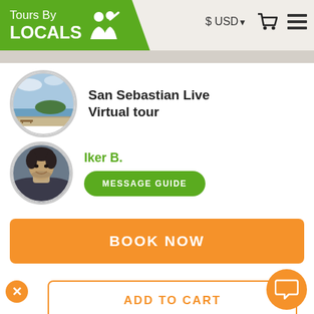[Figure (logo): Tours By Locals logo with green background and white silhouette figures]
$ USD▾
[Figure (illustration): Shopping cart icon and hamburger menu icon]
[Figure (photo): Circular photo of San Sebastian bay/beach landscape]
San Sebastian Live Virtual tour
[Figure (photo): Circular photo of guide Iker B., a man smiling]
Iker B.
MESSAGE GUIDE
BOOK NOW
ADD TO CART
[Figure (illustration): Orange circular chat/message bubble button]